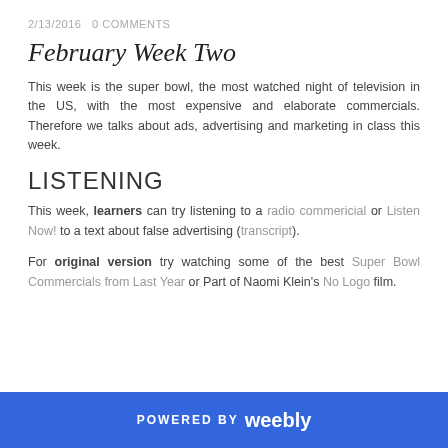2/13/2016   0 COMMENTS
February Week Two
This week is the super bowl, the most watched night of television in the US, with the most expensive and elaborate commercials. Therefore we talks about ads, advertising and marketing in class this week.
LISTENING
This week, learners can try listening to a radio commericial or Listen Now! to a text about false advertising (transcript).
For original version try watching some of the best Super Bowl Commercials from Last Year or Part of Naomi Klein's No Logo film.
POWERED BY weebly